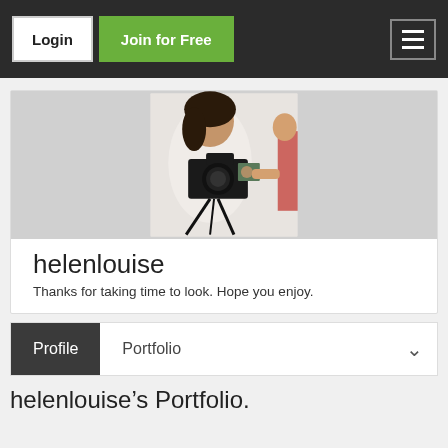Login | Join for Free
[Figure (photo): Woman holding a camera on a tripod, photographing someone; profile/portfolio banner image]
helenlouise
Thanks for taking time to look. Hope you enjoy.
Profile | Portfolio
helenlouise's Portfolio.